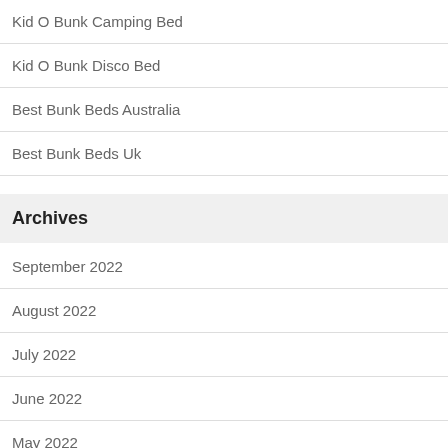Kid O Bunk Camping Bed
Kid O Bunk Disco Bed
Best Bunk Beds Australia
Best Bunk Beds Uk
Archives
September 2022
August 2022
July 2022
June 2022
May 2022
April 2022
March 2022
February 2022